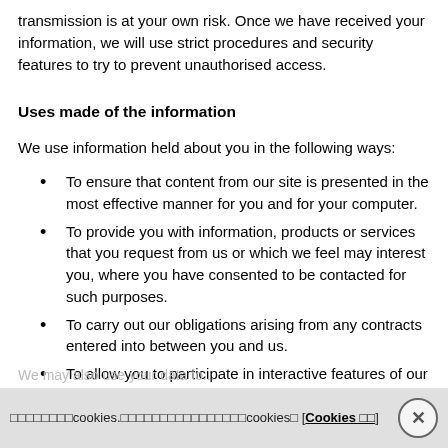transmission is at your own risk. Once we have received your information, we will use strict procedures and security features to try to prevent unauthorised access.
Uses made of the information
We use information held about you in the following ways:
To ensure that content from our site is presented in the most effective manner for you and for your computer.
To provide you with information, products or services that you request from us or which we feel may interest you, where you have consented to be contacted for such purposes.
To carry out our obligations arising from any contracts entered into between you and us.
To allow you to participate in interactive features of our service, when you choose to do so.
□□□□□□□□cookies.□□□□□□□□□□□□□□□□cookies□ [Cookies □□]
We may also use your data to...